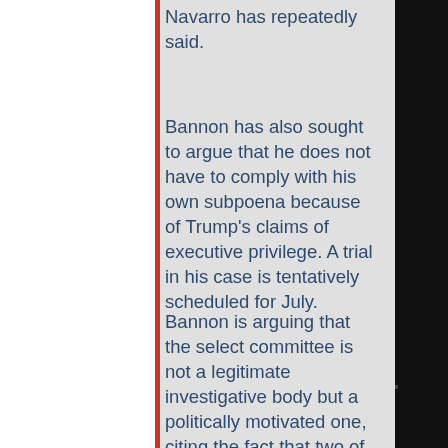Navarro has repeatedly said.
Bannon has also sought to argue that he does not have to comply with his own subpoena because of Trump's claims of executive privilege. A trial in his case is tentatively scheduled for July.
Bannon is arguing that the select committee is not a legitimate investigative body but a politically motivated one, citing the fact that two of
[Figure (photo): Black and white photo of the US Capitol building dome, showing ornate columns and architectural details on the right side of the image]